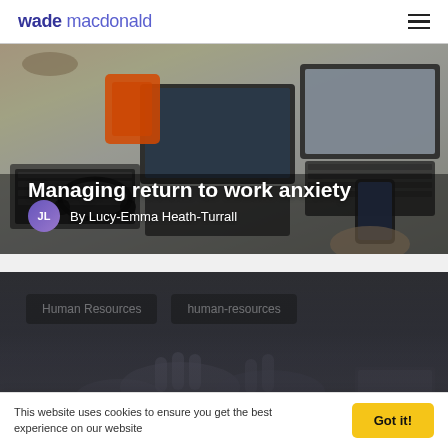wade macdonald
[Figure (photo): Overhead view of a desk with laptops, headphones, an orange hard drive, and a person holding a smartphone. Text overlay reads 'Managing return to work anxiety' by Lucy-Emma Heath-Turrall.]
Managing return to work anxiety
By Lucy-Emma Heath-Turrall
[Figure (photo): Dark card section with two black tag buttons labelled 'Human Resources' and 'human-resources', over a blurred background of hands gesturing.]
Human Resources
human-resources
This website uses cookies to ensure you get the best experience on our website